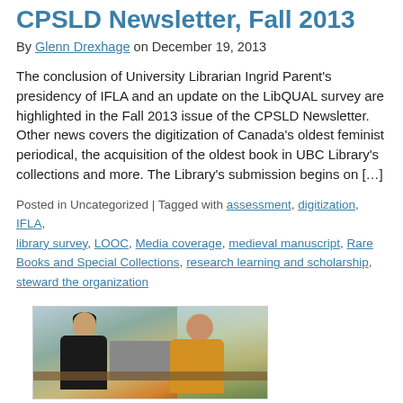CPSLD Newsletter, Fall 2013
By Glenn Drexhage on December 19, 2013
The conclusion of University Librarian Ingrid Parent’s presidency of IFLA and an update on the LibQUAL survey are highlighted in the Fall 2013 issue of the CPSLD Newsletter.  Other news covers the digitization of Canada’s oldest feminist periodical, the acquisition of the oldest book in UBC Library’s collections and more. The Library’s submission begins on […]
Posted in Uncategorized | Tagged with assessment, digitization, IFLA, library survey, LOOC, Media coverage, medieval manuscript, Rare Books and Special Collections, research learning and scholarship, steward the organization
[Figure (photo): Two people sitting at a table in a library setting, one writing and one with a laptop open. Green trees visible through window in background.]